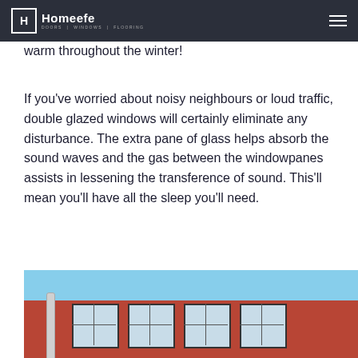Homeefe — DOORS | WINDOWS | FLOORING
warm throughout the winter!
If you’ve worried about noisy neighbours or loud traffic, double glazed windows will certainly eliminate any disturbance. The extra pane of glass helps absorb the sound waves and the gas between the windowpanes assists in lessening the transference of sound. This’ll mean you’ll have all the sleep you’ll need.
[Figure (photo): Exterior photo of a red brick house showing white-framed windows and a white gutter/downpipe, with blue sky visible above the roofline.]